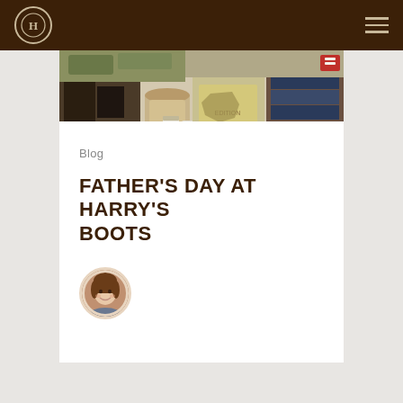Harry's Boots - Navigation
[Figure (photo): A retail store display showing boots, accessories, books, jars, and folded denim/flannel clothing on wooden tables and shelves.]
Blog
FATHER'S DAY AT HARRY'S BOOTS
[Figure (photo): Circular author avatar showing a woman with brown hair smiling, with a decorative border.]